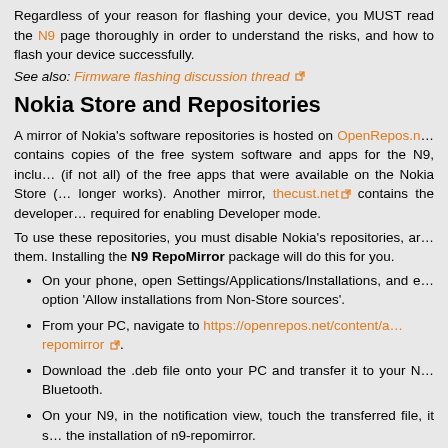Regardless of your reason for flashing your device, you MUST read the N9 page thoroughly in order to understand the risks, and how to flash your device successfully.
See also: Firmware flashing discussion thread
Nokia Store and Repositories
A mirror of Nokia's software repositories is hosted on OpenRepos.net. It contains copies of the free system software and apps for the N9, including (if not all) of the free apps that were available on the Nokia Store (which no longer works). Another mirror, thecust.net contains the developer mode files required for enabling Developer mode.
To use these repositories, you must disable Nokia's repositories, and replace them. Installing the N9 RepoMirror package will do this for you.
On your phone, open Settings/Applications/Installations, and enable the option 'Allow installations from Non-Store sources'.
From your PC, navigate to https://openrepos.net/content/a/repomirror.
Download the .deb file onto your PC and transfer it to your N9 via Bluetooth.
On your N9, in the notification view, touch the transferred file, it starts the installation of n9-repomirror.
Some users have reported problems with the latest version (0.7.2).